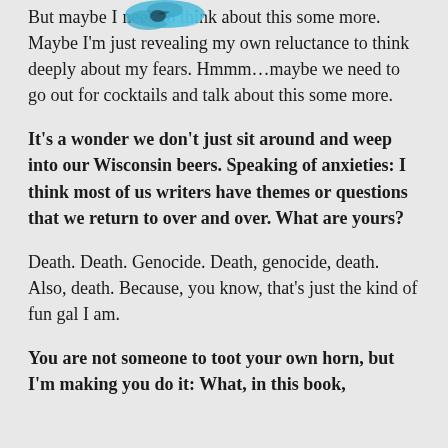[Figure (illustration): Blue decorative bird/wing graphic overlapping the top of the text]
But maybe I need to think about this some more. Maybe I'm just revealing my own reluctance to think deeply about my fears. Hmmm…maybe we need to go out for cocktails and talk about this some more.
It's a wonder we don't just sit around and weep into our Wisconsin beers. Speaking of anxieties: I think most of us writers have themes or questions that we return to over and over. What are yours?
Death. Death. Genocide. Death, genocide, death. Also, death. Because, you know, that's just the kind of fun gal I am.
You are not someone to toot your own horn, but I'm making you do it: What, in this book,